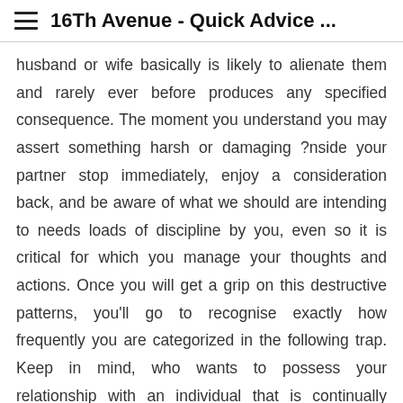≡  16Th Avenue - Quick Advice ...
husband or wife basically is likely to alienate them and rarely ever before produces any specified consequence. The moment you understand you may assert something harsh or damaging ?nside your partner stop immediately, enjoy a consideration back, and be aware of what we should are intending to needs loads of discipline by you, even so it is critical for which you manage your thoughts and actions. Once you will get a grip on this destructive patterns, you'll go to recognise exactly how frequently you are categorized in the following trap. Keep in mind, who wants to possess your relationship with an individual that is continually essential and it's do not pleased with for every try and